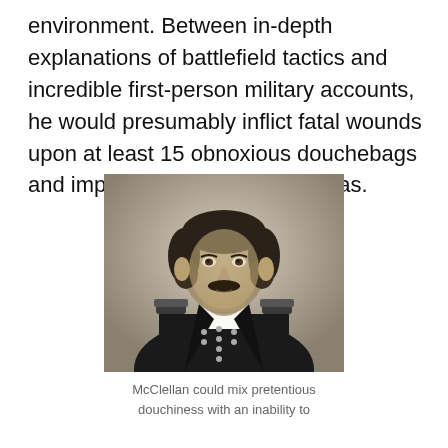environment. Between in-depth explanations of battlefield tactics and incredible first-person military accounts, he would presumably inflict fatal wounds upon at least 15 obnoxious douchebags and impregnate at least 35 Thetas.
[Figure (photo): Black and white portrait photograph of a Civil War era Union general in military uniform with epaulettes and buttons, with a mustache, looking slightly to the side.]
McClellan could mix pretentious douchiness with an inability to follow through like none of the...